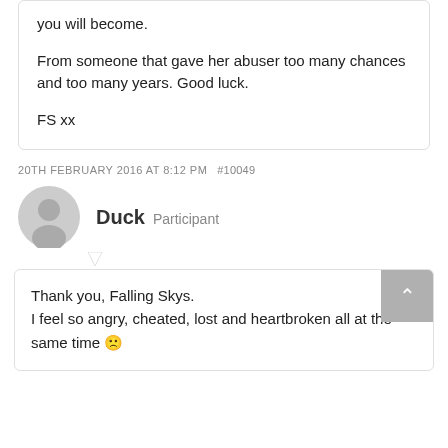you will become.

From someone that gave her abuser too many chances and too many years. Good luck.

FS xx
20TH FEBRUARY 2016 AT 8:12 PM  #10049
Duck  Participant
Thank you, Falling Skys.
I feel so angry, cheated, lost and heartbroken all at the same time 🙁